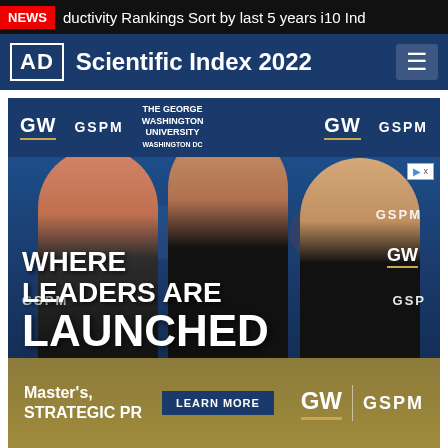NEWS  ductivity Rankings Sort by last 5 years i10 Ind
[Figure (logo): AD Scientific Index 2022 navigation bar with logo and menu icon]
[Figure (photo): GW GSPM advertisement showing three women standing in front of George Washington University backdrop with text: WHERE LEADERS ARE LAUNCHED. Master's, STRATEGIC PR. LEARN MORE. GW GSPM logos.]